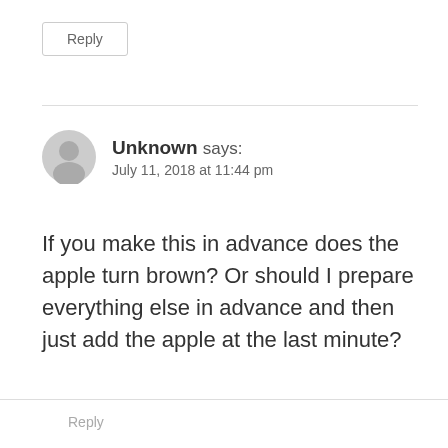Reply
[Figure (illustration): User avatar placeholder icon — gray silhouette of a person on a light gray circle background]
Unknown says:
July 11, 2018 at 11:44 pm
If you make this in advance does the apple turn brown? Or should I prepare everything else in advance and then just add the apple at the last minute?
Reply